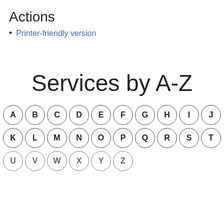Actions
Printer-friendly version
Services by A-Z
[Figure (infographic): A-Z navigation circles showing letters A through T and partial third row, each letter in a circular button outline]